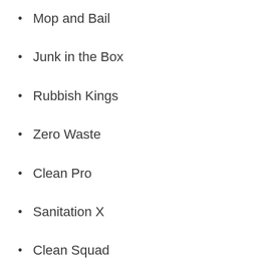Mop and Bail
Junk in the Box
Rubbish Kings
Zero Waste
Clean Pro
Sanitation X
Clean Squad